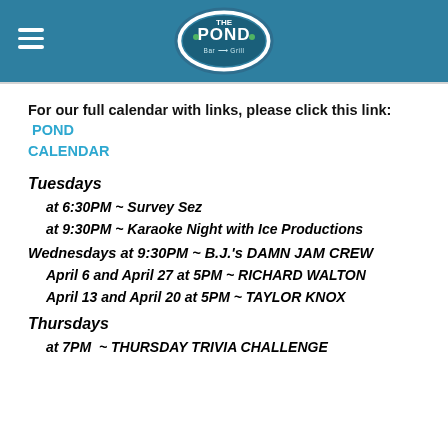[Figure (logo): The Pond Bar and Grill logo in an oval shape with teal/blue border on a teal header bar, with hamburger menu icon on the left]
For our full calendar with links, please click this link:  POND CALENDAR
Tuesdays
at 6:30PM ~ Survey Sez
at 9:30PM ~ Karaoke Night with Ice Productions
Wednesdays at 9:30PM ~ B.J.'s DAMN JAM CREW
April 6 and April 27 at 5PM ~ RICHARD WALTON
April 13 and April 20 at 5PM ~ TAYLOR KNOX
Thursdays
at 7PM  ~ THURSDAY TRIVIA CHALLENGE